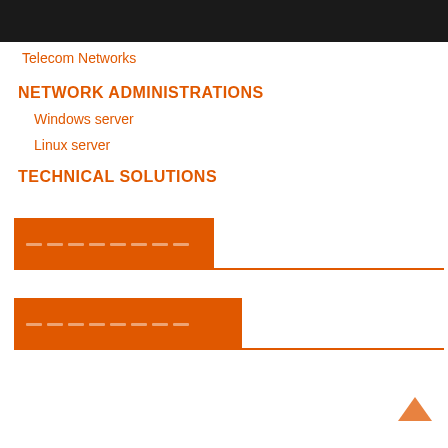Navigation bar with home, menu, search, and shuffle icons
Telecom Networks
NETWORK ADMINISTRATIONS
Windows server
Linux server
TECHNICAL SOLUTIONS
[Figure (other): Orange navigation card block with dashed pattern, with orange horizontal line extending to the right]
[Figure (other): Orange navigation card block (wider) with dashed pattern, with orange horizontal line extending to the right]